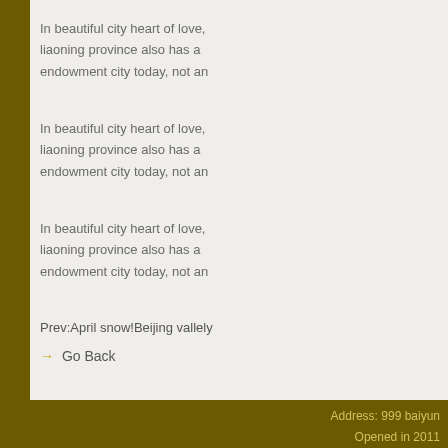In beautiful city heart of love, liaoning province also has a endowment city today, not an
In beautiful city heart of love, liaoning province also has a endowment city today, not an
In beautiful city heart of love, liaoning province also has a endowment city today, not an
Prev:April snow!Beijing vallely
→ Go Back
Address: 999 baiyun
Opened in 2011